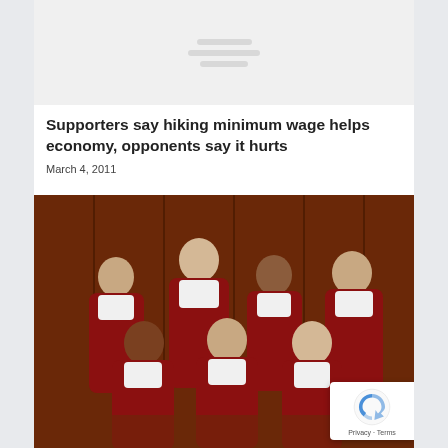[Figure (other): Top placeholder image area with loading lines (blurred/loading content)]
Supporters say hiking minimum wage helps economy, opponents say it hurts
March 4, 2011
[Figure (photo): Group photo of seven judges wearing red robes with white collars, seated and standing in two rows in what appears to be a formal court chamber with wood paneling]